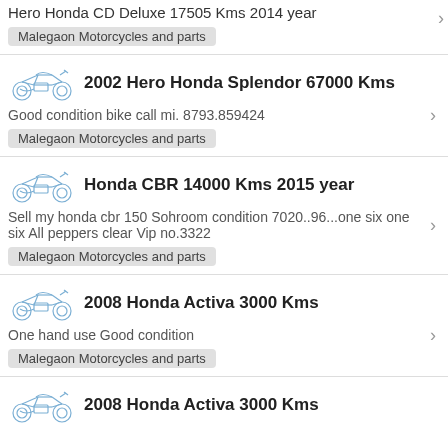Hero Honda CD Deluxe 17505 Kms 2014 year
Malegaon Motorcycles and parts
[Figure (illustration): Blue motorcycle line art icon]
2002 Hero Honda Splendor 67000 Kms
Good condition bike call mi. 8793.859424
Malegaon Motorcycles and parts
[Figure (illustration): Blue motorcycle line art icon]
Honda CBR 14000 Kms 2015 year
Sell my honda cbr 150 Sohroom condition 7020..96...one six one six All peppers clear Vip no.3322
Malegaon Motorcycles and parts
[Figure (illustration): Blue motorcycle line art icon]
2008 Honda Activa 3000 Kms
One hand use Good condition
Malegaon Motorcycles and parts
[Figure (illustration): Blue motorcycle line art icon]
2008 Honda Activa 3000 Kms